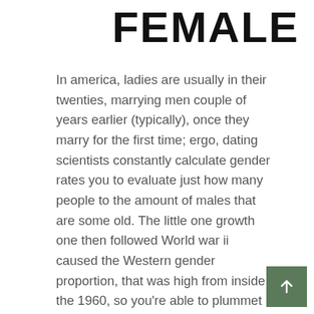FEMALE
In america, ladies are usually in their twenties, marrying men couple of years earlier (typically), once they marry for the first time; ergo, dating scientists constantly calculate gender rates you to evaluate just how many people to the amount of males that are some old. The little one growth one then followed World war ii caused the Western gender proportion, that was high from inside the 1960, so you're able to plummet in order to lower levels at the end of you to ten years. For some time adopting the combat, a whole lot more babies had been created each year